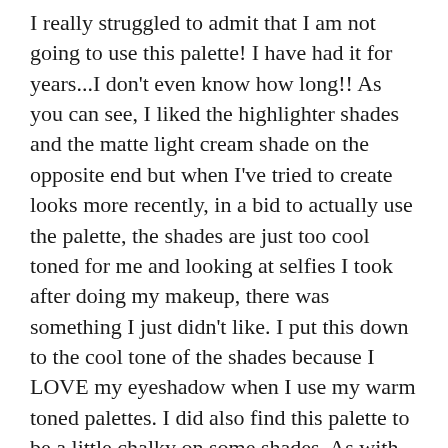I really struggled to admit that I am not going to use this palette!  I have had it for years...I don't even know how long!!  As you can see, I liked the highlighter shades and the matte light cream shade on the opposite end but when I've tried to create looks more recently, in a bid to actually use the palette, the shades are just too cool toned for me and looking at selfies I took after doing my makeup, there was something I just didn't like.  I put this down to the cool tone of the shades because I LOVE my eyeshadow when I use my warm toned palettes.  I did also find this palette to be a little chalky on some shades.   As with the eyeliner though, this is unusual for me to think this of an Urban Decay product as I LOVE their eyeshadow palettes so from now on I probably need to stick to warm tones!
Would I repurchase?